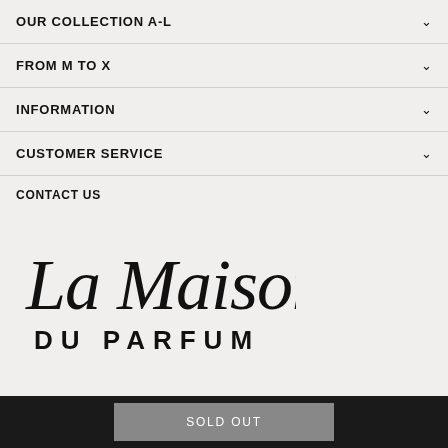OUR COLLECTION A-L
FROM M TO X
INFORMATION
CUSTOMER SERVICE
CONTACT US
[Figure (logo): La Maison Du Parfum script and serif logo in black on light grey background]
SOLD OUT